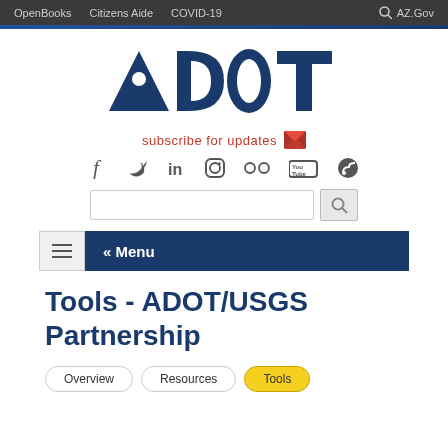OpenBooks  Citizens Aide  COVID-19  AZ.Gov
[Figure (logo): ADOT logo - stylized bold dark blue text 'ADOT' with a dot in the letter A]
subscribe for updates
[Figure (infographic): Social media icons: Facebook, Twitter, LinkedIn, Instagram, Flickr, YouTube, Blog/RSS]
[Figure (screenshot): Search bar with text input and magnifying glass search button]
[Figure (infographic): Navigation menu bar with hamburger icon and '« Menu' text on dark blue background]
Tools - ADOT/USGS Partnership
Overview
Resources
Tools